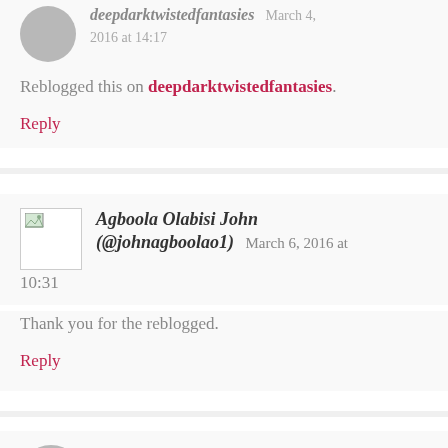deepdarktwistedfantasies  March 4, 2016 at 14:17
Reblogged this on deepdarktwistedfantasies.
Reply
Agboola Olabisi John (@johnagboolao1)  March 6, 2016 at 10:31
Thank you for the reblogged.
Reply
Olalekan Olapeju  March 4, 2016 at